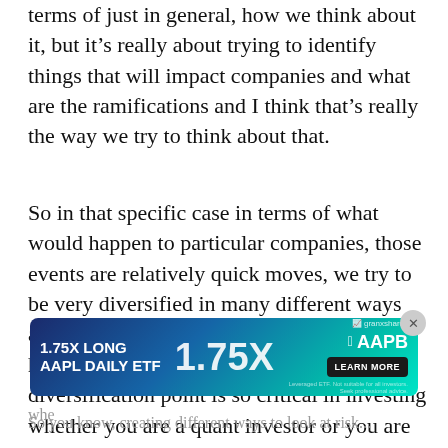terms of just in general, how we think about it, but it’s really about trying to identify things that will impact companies and what are the ramifications and I think that’s really the way we try to think about that.
So in that specific case in terms of what would happen to particular companies, those events are relatively quick moves, we try to be very diversified in many different ways and that is probably one of the first times I have used that term but I would take the diversification point is so critical in investing whether you are a quant investor or you are any type of investor, it’s definitely an extremely helpful attribute
[Figure (other): Advertisement banner for '1.75X Long AAPL Daily ETF' (AAPB) by GraniteShares with 'Learn More' button and teal/blue gradient background]
whe... (text obscured by ad)
So you know, creating different ways to look at risk...